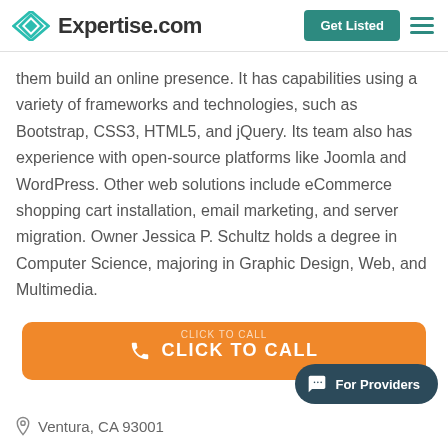Expertise.com
them build an online presence. It has capabilities using a variety of frameworks and technologies, such as Bootstrap, CSS3, HTML5, and jQuery. Its team also has experience with open-source platforms like Joomla and WordPress. Other web solutions include eCommerce shopping cart installation, email marketing, and server migration. Owner Jessica P. Schultz holds a degree in Computer Science, majoring in Graphic Design, Web, and Multimedia.
[Figure (other): Orange 'CLICK TO CALL' button with phone icon]
[Figure (other): Dark teal 'For Providers' chat bubble button]
Ventura, CA 93001